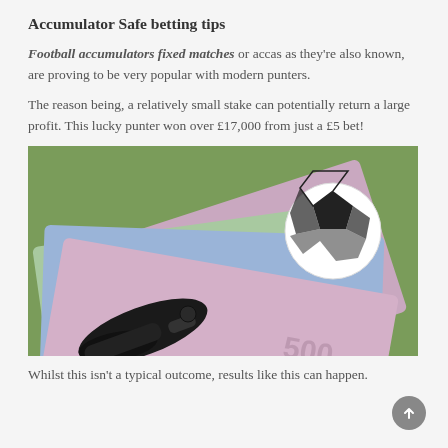Accumulator Safe betting tips
Football accumulators fixed matches or accas as they're also known, are proving to be very popular with modern punters.
The reason being, a relatively small stake can potentially return a large profit. This lucky punter won over £17,000 from just a £5 bet!
[Figure (photo): Photo of Euro banknotes fanned out with a small football/soccer ball on top and a black whistle in the foreground, suggesting sports betting winnings.]
Whilst this isn't a typical outcome, results like this can happen.